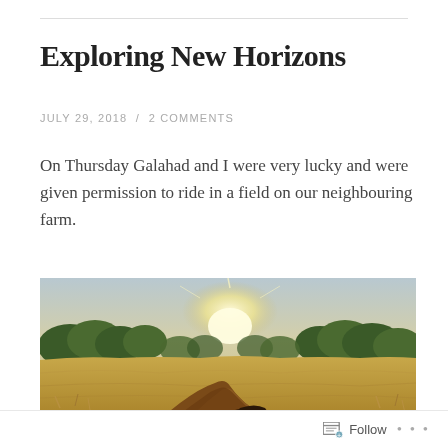Exploring New Horizons
JULY 29, 2018  /  2 COMMENTS
On Thursday Galahad and I were very lucky and were given permission to ride in a field on our neighbouring farm.
[Figure (photo): View from horseback over a golden field with trees on the horizon and bright sunlight, horse mane visible in the foreground]
Follow